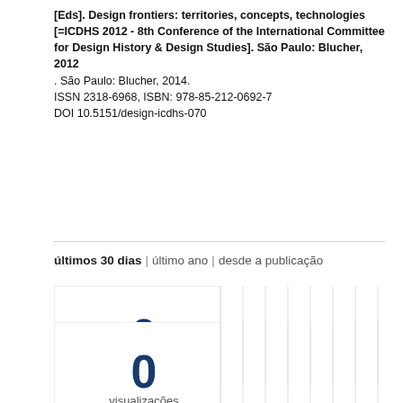[Eds]. Design frontiers: territories, concepts, technologies [=ICDHS 2012 - 8th Conference of the International Committee for Design History & Design Studies]. São Paulo: Blucher, 2012. São Paulo: Blucher, 2014. ISSN 2318-6968, ISBN: 978-85-212-0692-7 DOI 10.5151/design-icdhs-070
últimos 30 dias | último ano | desde a publicação
[Figure (bar-chart): downloads]
[Figure (bar-chart): visualizações]